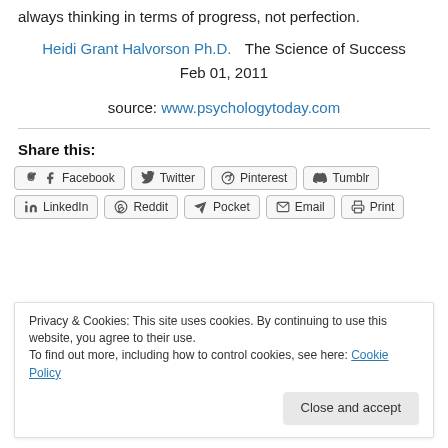always thinking in terms of progress, not perfection.
Heidi Grant Halvorson Ph.D.   The Science of Success
Feb 01, 2011
source: www.psychologytoday.com
Share this:
Facebook  Twitter  Pinterest  Tumblr  LinkedIn  Reddit  Pocket  Email  Print
Privacy & Cookies: This site uses cookies. By continuing to use this website, you agree to their use.
To find out more, including how to control cookies, see here: Cookie Policy
Close and accept